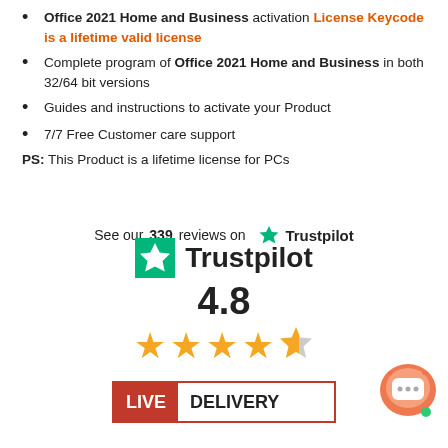Office 2021 Home and Business activation License Keycode is a lifetime valid license
Complete program of Office 2021 Home and Business in both 32/64 bit versions
Guides and instructions to activate your Product
7/7 Free Customer care support
PS: This Product is a lifetime license for PCs
See our 339 reviews on ★ Trustpilot
[Figure (logo): Trustpilot logo with 4.8 star rating and five stars (four full, one half), plus LIVE DELIVERY badge and chat icon]